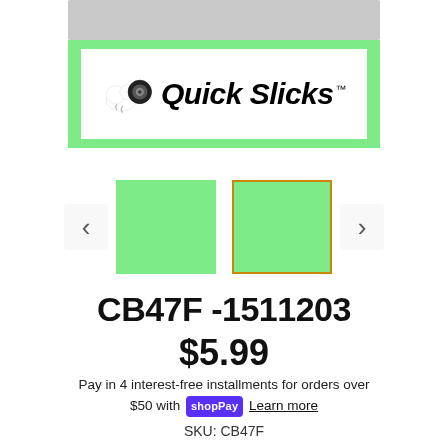[Figure (logo): Quick Slicks brand logo with cloud and tire illustration, green bordered banner on white background]
[Figure (other): Two green thumbnail images with navigation arrows; second thumbnail has orange border indicating selected state]
CB47F -1511203
$5.99
Pay in 4 interest-free installments for orders over $50 with Shop Pay. Learn more
SKU: CB47F